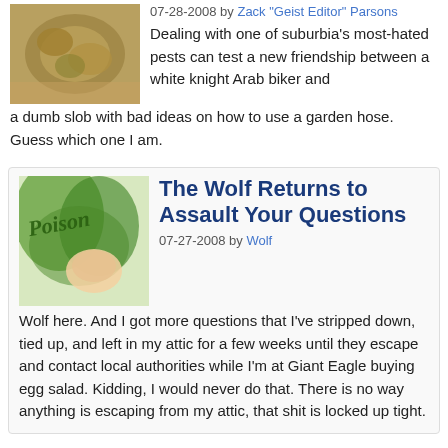[Figure (photo): Thumbnail photo of a wasp nest]
07-28-2008 by Zack "Geist Editor" Parsons
Dealing with one of suburbia's most-hated pests can test a new friendship between a white knight Arab biker and a dumb slob with bad ideas on how to use a garden hose. Guess which one I am.
[Figure (photo): Thumbnail image with Poison text and hand holding leaf]
The Wolf Returns to Assault Your Questions
07-27-2008 by Wolf
Wolf here. And I got more questions that I've stripped down, tied up, and left in my attic for a few weeks until they escape and contact local authorities while I'm at Giant Eagle buying egg salad. Kidding, I would never do that. There is no way anything is escaping from my attic, that shit is locked up tight.
[Figure (photo): Thumbnail photo of a person]
Clash Of The Made-For-TV Movies
07-26-2008 by Dennis "Corin Tucker's Stalker" Farrell